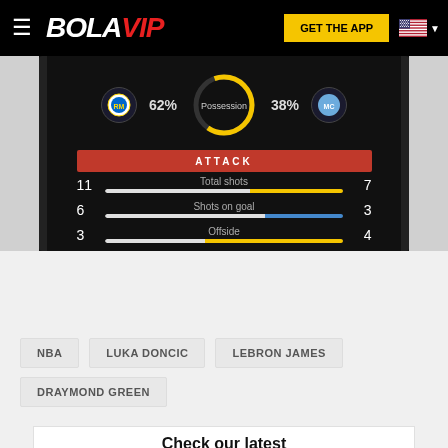[Figure (screenshot): BOLAVIP website navigation bar with hamburger menu, BOLAVIP logo (BOLA in white, VIP in red), GET THE APP yellow button, and US flag dropdown]
[Figure (screenshot): App screenshot showing Real Madrid vs Manchester City match stats: Possession 62% vs 38%; Attack section with Total shots 11 vs 7, Shots on goal 6 vs 3, Offside 3 vs 4]
NBA
LUKA DONCIC
LEBRON JAMES
DRAYMOND GREEN
Check our latest